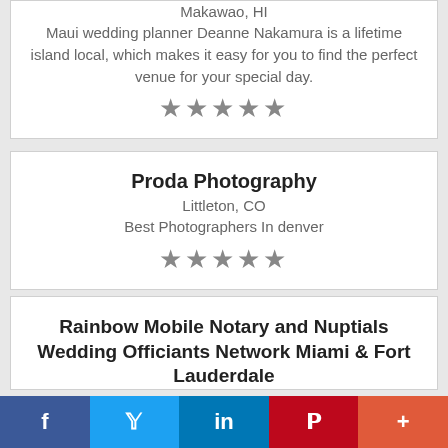Makawao, HI
Maui wedding planner Deanne Nakamura is a lifetime island local, which makes it easy for you to find the perfect venue for your special day.
★★★★★
Proda Photography
Littleton, CO
Best Photographers In denver
★★★★★
Rainbow Mobile Notary and Nuptials Wedding Officiants Network Miami & Fort Lauderdale
Cutler Bay, FL
Rainbow Mobile Notary and Nuptials Wedding